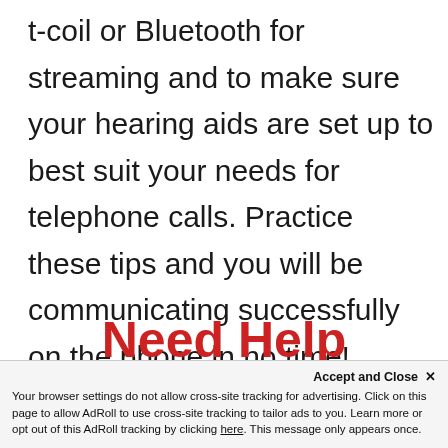t-coil or Bluetooth for streaming and to make sure your hearing aids are set up to best suit your needs for telephone calls. Practice these tips and you will be communicating successfully on the phone in no time!
Need Help Finding Hearing Aids?
Accept and Close ×
Your browser settings do not allow cross-site tracking for advertising. Click on this page to allow AdRoll to use cross-site tracking to tailor ads to you. Learn more or opt out of this AdRoll tracking by clicking here. This message only appears once.